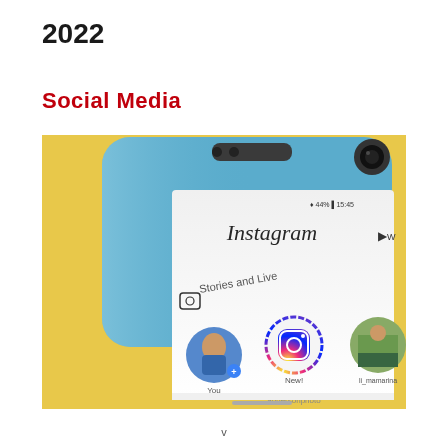2022
Social Media
[Figure (photo): A blue Samsung Android smartphone displaying the Instagram app homescreen, showing Stories and Live section with user avatars including an Instagram logo story, against a yellow background. The phone is photographed from a top-down angle.]
v